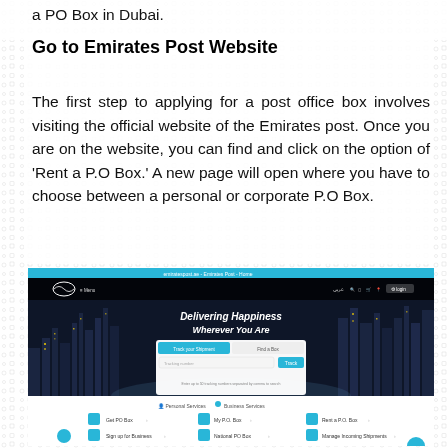a PO Box in Dubai.
Go to Emirates Post Website
The first step to applying for a post office box involves visiting the official website of the Emirates post. Once you are on the website, you can find and click on the option of 'Rent a P.O Box.' A new page will open where you have to choose between a personal or corporate P.O Box.
[Figure (screenshot): Screenshot of the Emirates Post website homepage showing a dark cityscape background with the text 'Delivering Happiness Wherever You Are', navigation bar, logo, and a search/track shipment form with tabs for 'Track your Shipment' and 'Find a Box', a blue 'Track' button, and service icons at the bottom including 'Get PO Box', 'My P.O. Box', 'Rent a P.O. Box', 'Sign up for Business', 'National PO Box', and 'Manage Incoming Shipments'.]